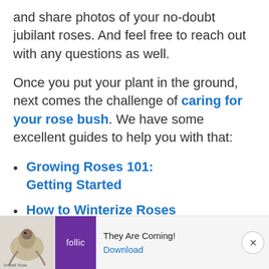and share photos of your no-doubt jubilant roses. And feel free to reach out with any questions as well.
Once you put your plant in the ground, next comes the challenge of caring for your rose bush. We have some excellent guides to help you with that:
Growing Roses 101: Getting Started
How to Winterize Roses
[Figure (other): Advertisement banner at the bottom of the page showing a Rollic game ad with bird icon, purple logo box, 'They Are Coming!' tagline, and a Download button.]